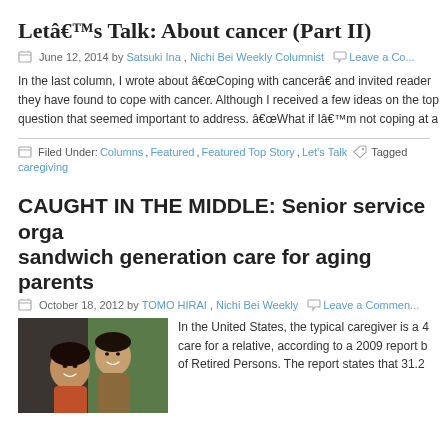Letâs Talk: About cancer (Part II)
June 12, 2014 by Satsuki Ina, Nichi Bei Weekly Columnist   Leave a Co...
In the last column, I wrote about “Coping with cancer” and invited reader... they have found to cope with cancer. Although I received a few ideas on the top... question that seemed important to address. “What if I’m not coping at a...
Filed Under: Columns, Featured, Featured Top Story, Let’s Talk  Tagged... caregiving
CAUGHT IN THE MIDDLE: Senior service orga... sandwich generation care for aging parents
October 18, 2012 by TOMO HIRAI, Nichi Bei Weekly   Leave a Commen...
[Figure (photo): Two women smiling together, an older woman and a younger woman]
In the United States, the typical caregiver is a 4... care for a relative, according to a 2009 report b... of Retired Persons. The report states that 31.2...